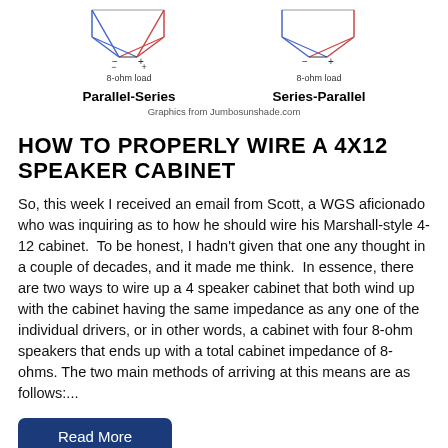[Figure (schematic): Two speaker wiring diagrams side by side: 'Parallel-Series' on the left showing 4 speakers wired in parallel-series configuration with 8-ohm load label, and 'Series-Parallel' on the right with same 8-ohm load label. Lines connect in X/diamond patterns with + and - terminals marked.]
Graphics from Jumbosunshade.com
HOW TO PROPERLY WIRE A 4X12 SPEAKER CABINET
So, this week I received an email from Scott, a WGS aficionado who was inquiring as to how he should wire his Marshall-style 4-12 cabinet.  To be honest, I hadn't given that one any thought in a couple of decades, and it made me think.  In essence, there are two ways to wire up a 4 speaker cabinet that both wind up with the cabinet having the same impedance as any one of the individual drivers, or in other words, a cabinet with four 8-ohm speakers that ends up with a total cabinet impedance of 8-ohms. The two main methods of arriving at this means are as follows:...
Read More